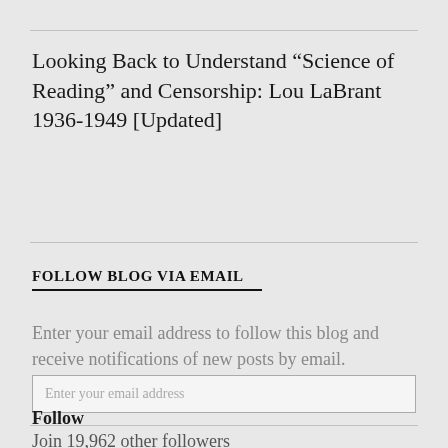Looking Back to Understand “Science of Reading” and Censorship: Lou LaBrant 1936-1949 [Updated]
FOLLOW BLOG VIA EMAIL
Enter your email address to follow this blog and receive notifications of new posts by email.
Enter your email address
Follow
Join 19,962 other followers